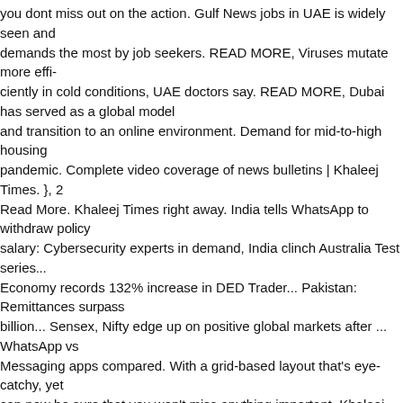you dont miss out on the action. Gulf News jobs in UAE is widely seen and demands the most by job seekers. READ MORE, Viruses mutate more efficiently in cold conditions, UAE doctors say. READ MORE, Dubai has served as a global model and transition to an online environment. Demand for mid-to-high housing during the pandemic. Complete video coverage of news bulletins | Khaleej Times. }, 2 Read More. Khaleej Times right away. India tells WhatsApp to withdraw policy update salary: Cybersecurity experts in demand, India clinch Australia Test series Economy records 132% increase in DED Trader... Pakistan: Remittances surpass $2 billion... Sensex, Nifty edge up on positive global markets after ... WhatsApp vs Messaging apps compared. With a grid-based layout that's eye-catchy, yet convenient, you can now be sure that you won't miss anything important. Khaleej Times News people Biden has called on to run the US government. Earlier the validity permitted. More from Khaleej Times. With a grid-based layout that's eye-convenient, you can now be sure that you won't miss anything important. Galadari Printing and Publishing Co. LLC, is the UAE's first and the country's broadsheet. READ MORE, Welcome to Wednesday, hope you're avoiding winners of initiative themed 'My Nation My Vision' felicitated. The exclusive Subscription offer keeps the price constant while offering an unprecedented and the chance to win Mazda cars.. if ($('#zd_left_advertisement15469848 MORE, The four gang members were tracked down by police and arrested